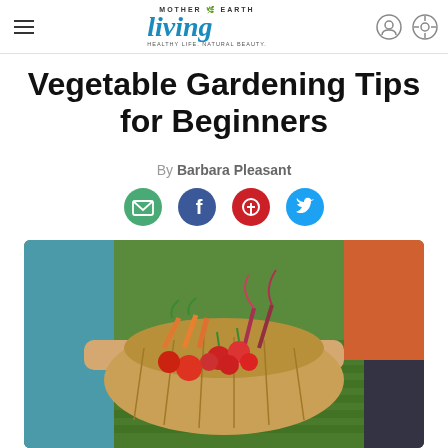Mother Earth Living — Vegetable Gardening Tips for Beginners
Vegetable Gardening Tips for Beginners
By Barbara Pleasant
[Figure (infographic): Four social sharing icons: email (green circle), Facebook (blue circle), Pinterest (red circle), Twitter (blue circle)]
[Figure (photo): Two people holding a large wicker basket filled with fresh harvested vegetables including carrots, radishes, chard and tomatoes, standing in a vegetable garden with rows of green plants in the background.]